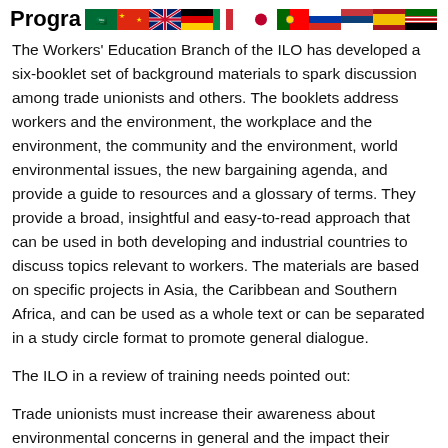Program [flags]
The Workers' Education Branch of the ILO has developed a six-booklet set of background materials to spark discussion among trade unionists and others. The booklets address workers and the environment, the workplace and the environment, the community and the environment, world environmental issues, the new bargaining agenda, and provide a guide to resources and a glossary of terms. They provide a broad, insightful and easy-to-read approach that can be used in both developing and industrial countries to discuss topics relevant to workers. The materials are based on specific projects in Asia, the Caribbean and Southern Africa, and can be used as a whole text or can be separated in a study circle format to promote general dialogue.
The ILO in a review of training needs pointed out:
Trade unionists must increase their awareness about environmental concerns in general and the impact their